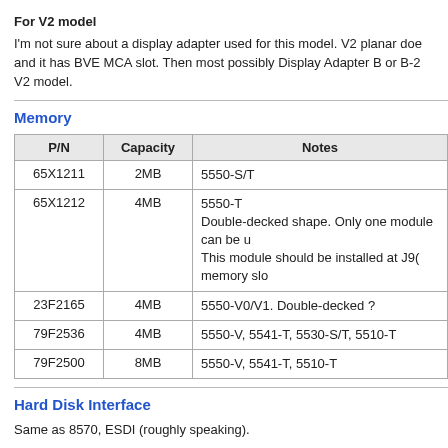For V2 model
I'm not sure about a display adapter used for this model. V2 planar doe and it has BVE MCA slot. Then most possibly Display Adapter B or B-2 V2 model.
Memory
| P/N | Capacity | Notes |
| --- | --- | --- |
| 65X1211 | 2MB | 5550-S/T |
| 65X1212 | 4MB | 5550-T
Double-decked shape. Only one module can be u
This module should be installed at J9( memory slo |
| 23F2165 | 4MB | 5550-V0/V1. Double-decked ? |
| 79F2536 | 4MB | 5550-V, 5541-T, 5530-S/T, 5510-T |
| 79F2500 | 8MB | 5550-V, 5541-T, 5510-T |
Hard Disk Interface
Same as 8570, ESDI (roughly speaking).